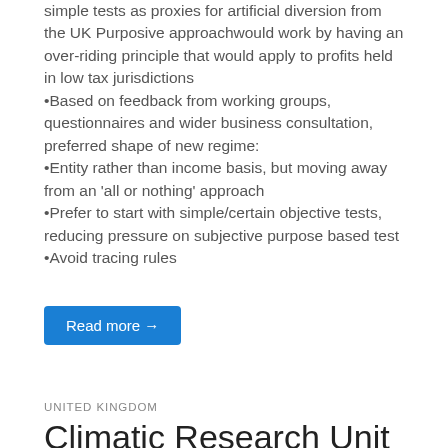simple tests as proxies for artificial diversion from the UK Purposive approachwould work by having an over-riding principle that would apply to profits held in low tax jurisdictions
•Based on feedback from working groups, questionnaires and wider business consultation, preferred shape of new regime:
•Entity rather than income basis, but moving away from an 'all or nothing' approach
•Prefer to start with simple/certain objective tests, reducing pressure on subjective purpose based test
•Avoid tracing rules
Read more →
UNITED KINGDOM
Climatic Research Unit Documents: European climate policy adaptation and mitigation